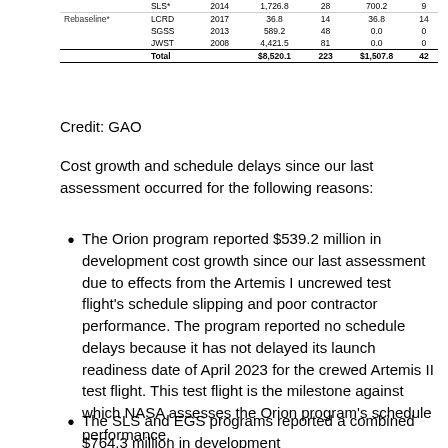|  |  |  |  |  |  |  |
| --- | --- | --- | --- | --- | --- | --- |
|  | SLS* | 2014 | 1,726.8 | 28 | 700.2 | 9 |
| Rebaseline* | LCRD | 2017 | 36.8 | 14 | 36.8 | 14 |
|  | SGSS | 2013 | 589.2 | 48 | 0.0 | 0 |
|  | JWST | 2008 | 4,421.5 | 81 | 0.0 | 0 |
|  | Total |  | $8,520.1 | 223 | $1,507.8 | 42 |
Credit: GAO
Cost growth and schedule delays since our last assessment occurred for the following reasons:
The Orion program reported $539.2 million in development cost growth since our last assessment due to effects from the Artemis I uncrewed test flight’s schedule slipping and poor contractor performance. The program reported no schedule delays because it has not delayed its launch readiness date of April 2023 for the crewed Artemis II test flight. This test flight is the milestone against which NASA assesses the Orion program’s schedule performance.
The SLS and EGS programs reported a combined $764.3 million in development